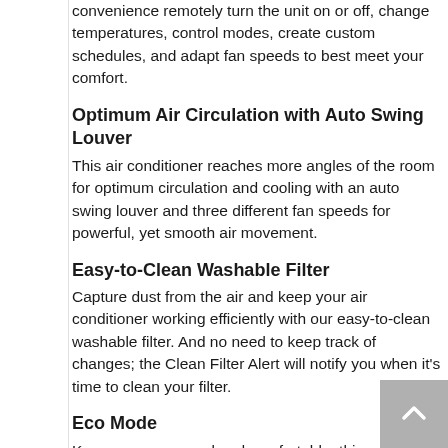convenience remotely turn the unit on or off, change temperatures, control modes, create custom schedules, and adapt fan speeds to best meet your comfort.
Optimum Air Circulation with Auto Swing Louver
This air conditioner reaches more angles of the room for optimum circulation and cooling with an auto swing louver and three different fan speeds for powerful, yet smooth air movement.
Easy-to-Clean Washable Filter
Capture dust from the air and keep your air conditioner working efficiently with our easy-to-clean washable filter. And no need to keep track of changes; the Clean Filter Alert will notify you when it's time to clean your filter.
Eco Mode
Keep your room cool and comfortable; this unit turns on and off at different intervals to ensure that the room stays at the set temperature.